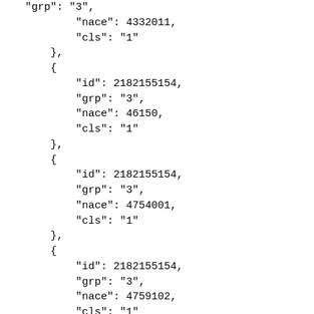"grp": "3",
            "nace": 4332011,
            "cls": "1"
        },
        {
            "id": 2182155154,
            "grp": "3",
            "nace": 46150,
            "cls": "1"
        },
        {
            "id": 2182155154,
            "grp": "3",
            "nace": 4754001,
            "cls": "1"
        },
        {
            "id": 2182155154,
            "grp": "3",
            "nace": 4759102,
            "cls": "1"
        }
    ]
},
{